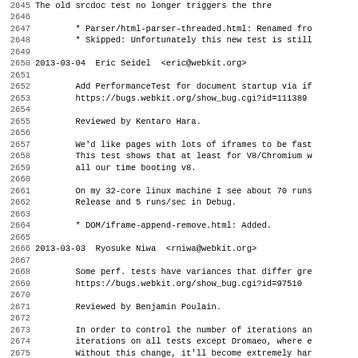Source code changelog / commit log excerpt, lines 2645-2677
2645: The old srcdoc test no longer triggers the thre
2647: * Parser/html-parser-threaded.html: Renamed fro
2648: * Skipped: Unfortunately this new test is still
2650 2013-03-04  Eric Seidel  <eric@webkit.org>
2652: Add PerformanceTest for document startup via if
2653: https://bugs.webkit.org/show_bug.cgi?id=111389
2655: Reviewed by Kentaro Hara.
2657-2659: We'd like pages with lots of iframes to be fast...
2661-2662: On my 32-core linux machine I see about 70 runs... Release and 5 runs/sec in Debug.
2664: * DOM/iframe-append-remove.html: Added.
2666 2013-03-03  Ryosuke Niwa  <rniwa@webkit.org>
2668-2669: Some perf. tests have variances that differ gre... https://bugs.webkit.org/show_bug.cgi?id=97510
2671: Reviewed by Benjamin Poulain.
2673-2676: In order to control the number of iterations an... to use from run-perf-tests.